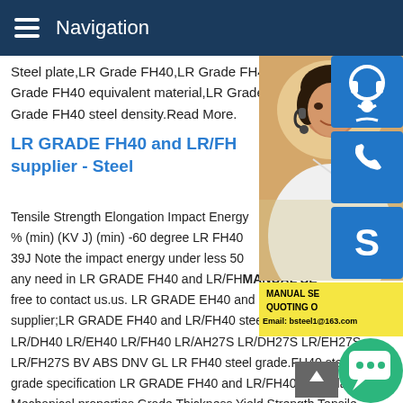Navigation
Steel plate,LR Grade FH40,LR Grade FH40 Grade FH40 equivalent material,LR Grade Grade FH40 steel density.Read More.
LR GRADE FH40 and LR/FH40 supplier - Steel
Tensile Strength Elongation Impact Energy % (min) (KV J) (min) -60 degree LR FH40 39J Note the impact energy under less 50 any need in LR GRADE FH40 and LR/FH40 free to contact us.us. LR GRADE EH40 and LR/EH40 steel plate supplier;LR GRADE FH40 and LR/FH40 steel plate supplier - Steel LR/DH40 LR/EH40 LR/FH40 LR/AH27S LR/DH27S LR/EH27S LR/FH27S BV ABS DNV GL LR FH40 steel grade.FH40 steel grade specification LR GRADE FH40 and LR/FH40 steel plate Mechanical properties.Grade Thickness Yield Strength Tensile
[Figure (photo): Customer service representative woman with headset smiling]
[Figure (infographic): Blue icon buttons: headset/support, phone, Skype; yellow info box with MANUAL SE... QUOTING O... Email: bsteel1@163.com; green chat bubble; grey scroll-to-top button]